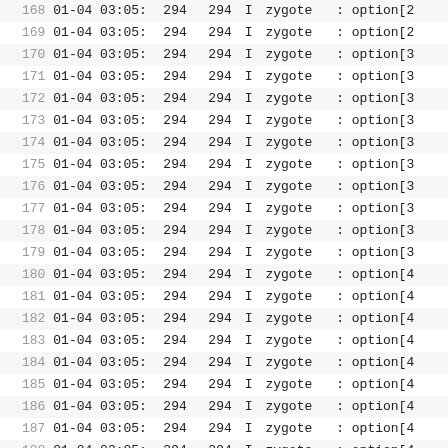| # | Date Time | PID | TID | L | Tag | Message |
| --- | --- | --- | --- | --- | --- | --- |
| 168 | 01-04 03:05:25.684 | 294 | 294 | I | zygote | : option[2 |
| 169 | 01-04 03:05:25.684 | 294 | 294 | I | zygote | : option[2 |
| 170 | 01-04 03:05:25.684 | 294 | 294 | I | zygote | : option[3 |
| 171 | 01-04 03:05:25.684 | 294 | 294 | I | zygote | : option[3 |
| 172 | 01-04 03:05:25.684 | 294 | 294 | I | zygote | : option[3 |
| 173 | 01-04 03:05:25.684 | 294 | 294 | I | zygote | : option[3 |
| 174 | 01-04 03:05:25.684 | 294 | 294 | I | zygote | : option[3 |
| 175 | 01-04 03:05:25.684 | 294 | 294 | I | zygote | : option[3 |
| 176 | 01-04 03:05:25.684 | 294 | 294 | I | zygote | : option[3 |
| 177 | 01-04 03:05:25.684 | 294 | 294 | I | zygote | : option[3 |
| 178 | 01-04 03:05:25.684 | 294 | 294 | I | zygote | : option[3 |
| 179 | 01-04 03:05:25.684 | 294 | 294 | I | zygote | : option[3 |
| 180 | 01-04 03:05:25.684 | 294 | 294 | I | zygote | : option[4 |
| 181 | 01-04 03:05:25.684 | 294 | 294 | I | zygote | : option[4 |
| 182 | 01-04 03:05:25.684 | 294 | 294 | I | zygote | : option[4 |
| 183 | 01-04 03:05:25.684 | 294 | 294 | I | zygote | : option[4 |
| 184 | 01-04 03:05:25.684 | 294 | 294 | I | zygote | : option[4 |
| 185 | 01-04 03:05:25.684 | 294 | 294 | I | zygote | : option[4 |
| 186 | 01-04 03:05:25.684 | 294 | 294 | I | zygote | : option[4 |
| 187 | 01-04 03:05:25.684 | 294 | 294 | I | zygote | : option[4 |
| 188 | 01-04 03:05:25.684 | 294 | 294 | I | zygote | : option[4 |
| 189 | 01-04 03:05:25.693 | 294 | 294 | W | zygote | : Could no |